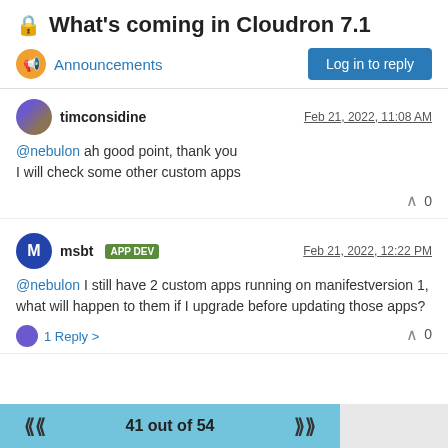🔒 What's coming in Cloudron 7.1
Announcements
Log in to reply
timconsidine   Feb 21, 2022, 11:08 AM
@nebulon ah good point, thank you
I will check some other custom apps
0
msbt APP DEV   Feb 21, 2022, 12:22 PM
@nebulon I still have 2 custom apps running on manifestversion 1, what will happen to them if I upgrade before updating those apps?
1 Reply >   0
41 out of 54